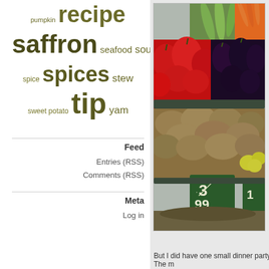[Figure (infographic): Word cloud / tag cloud with cooking-related terms: pumpkin, recipe (large), saffron (very large), seafood, soup, spice, spices (large), stew, sweet potato, tip (very large), yam — rendered in olive/dark yellow-green tones at varying sizes]
Feed
Entries (RSS)
Comments (RSS)
Meta
Log in
[Figure (photo): Photograph of a market vegetable stall showing vegetables including red peppers, eggplants/aubergines, zucchini/courgettes, carrots, potatoes, and other produce in crates with a price sign showing '3 / 99']
But I did have one small dinner party. The m